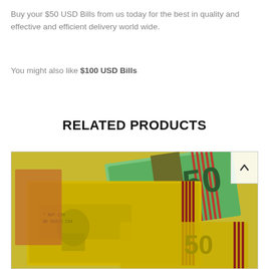Buy your $50 USD Bills from us today for the best in quality and effective and efficient delivery world wide.
You might also like $100 USD Bills
RELATED PRODUCTS
[Figure (photo): Photo of Australian $50 banknotes spread out, showing yellow/green notes with the number 50 visible.]